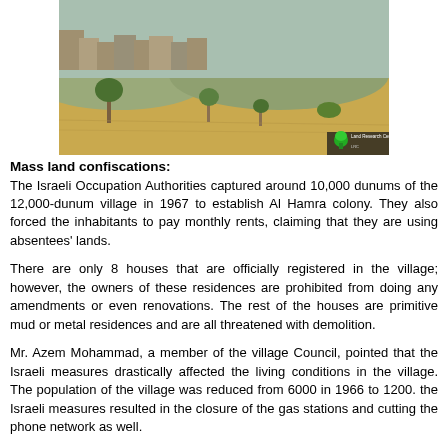[Figure (photo): Photograph of arid landscape with dry grass and sparse trees, with buildings visible in the background. A green tree logo watermark appears in the lower right corner with text 'Land Research Center'.]
Mass land confiscations:
The Israeli Occupation Authorities captured around 10,000 dunums of the 12,000-dunum village in 1967 to establish Al Hamra colony. They also forced the inhabitants to pay monthly rents, claiming that they are using absentees' lands.
There are only 8 houses that are officially registered in the village; however, the owners of these residences are prohibited from doing any amendments or even renovations. The rest of the houses are primitive mud or metal residences and are all threatened with demolition.
Mr. Azem Mohammad, a member of the village Council, pointed that the Israeli measures drastically affected the living conditions in the village. The population of the village was reduced from 6000 in 1966 to 1200. the Israeli measures resulted in the closure of the gas stations and cutting the phone network as well.